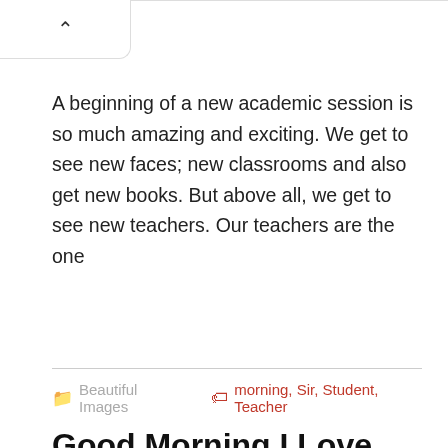[Figure (screenshot): Browser UI element: a white tab/button with an upward-pointing caret (^) arrow in the top-left corner, with a thin border line extending to the right]
A beginning of a new academic session is so much amazing and exciting. We get to see new faces; new classrooms and also get new books. But above all, we get to see new teachers. Our teachers are the one
Beautiful Images   morning, Sir, Student, Teacher
Good Morning I Love You Images
[Figure (photo): Partial view of a Good Morning image showing red text 'Good' on white/grey background with red heart decorations]